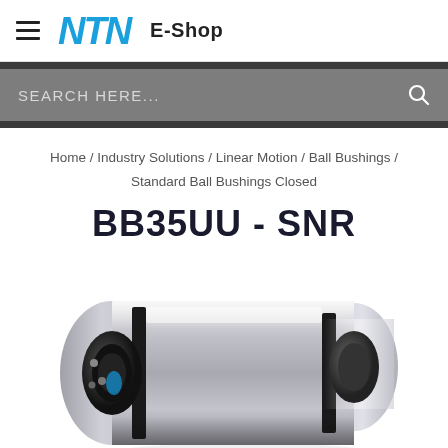NTN E-Shop
SEARCH HERE...
Home / Industry Solutions / Linear Motion / Ball Bushings / Standard Ball Bushings Closed
BB35UU - SNR
[Figure (photo): Product photo of NTN BB35UU SNR standard ball bushing (closed type), chrome/silver cylindrical linear bearing with black seals, shown at an angle]